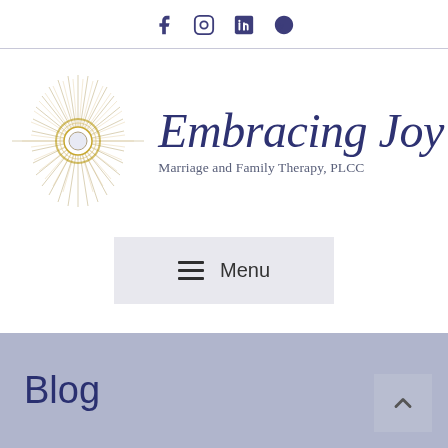Social icons: Facebook, Instagram, LinkedIn, Yelp
[Figure (logo): Embracing Joy logo: sunburst/starburst illustration with a ring at center, beside script text 'Embracing Joy' and subtitle 'Marriage and Family Therapy, PLCC']
Menu
Blog